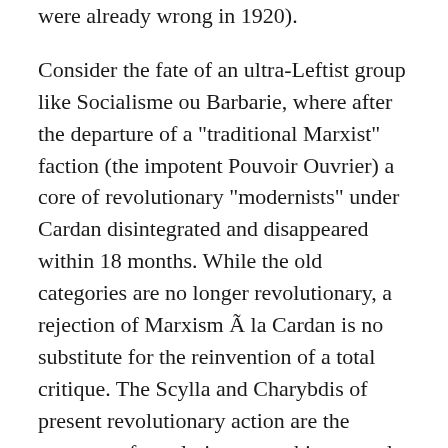were already wrong in 1920).
Consider the fate of an ultra-Leftist group like Socialisme ou Barbarie, where after the departure of a "traditional Marxist" faction (the impotent Pouvoir Ouvrier) a core of revolutionary "modernists" under Cardan disintegrated and disappeared within 18 months. While the old categories are no longer revolutionary, a rejection of Marxism Ã la Cardan is no substitute for the reinvention of a total critique. The Scylla and Charybdis of present revolutionary action are the museum of revolutionary prehistory and the modernism of the system itself.
As for the various anarchist groups, they possess nothing beyond a pathetic and ideological faith in this label. They justify every kind of self-contradiction in liberal terms: freedom of speech, of opinion, and other